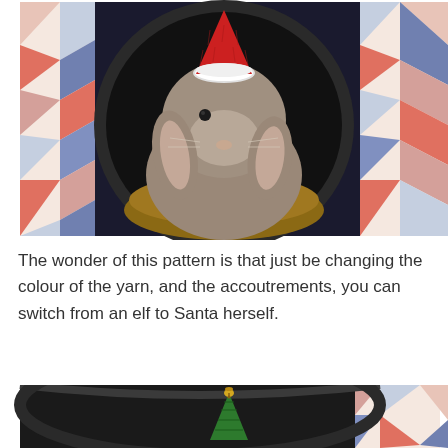[Figure (photo): A grey lop-eared rabbit sitting inside a circular tunnel/bed with a geometric patterned exterior (pink, blue, purple triangles). The rabbit is wearing a small red and white crocheted Santa/elf hat on its head.]
The wonder of this pattern is that just be changing the colour of the yarn, and the accoutrements, you can switch from an elf to Santa herself.
[Figure (photo): Partial view of the same geometric patterned tunnel/bed with a small green crocheted Christmas tree with a gold bell on top visible in the foreground, on a dark background.]